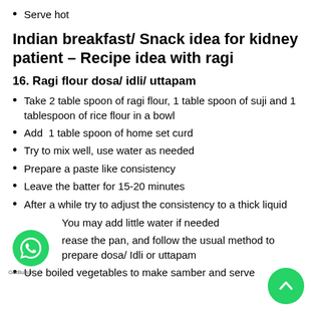Serve hot
Indian breakfast/ Snack idea for kidney patient – Recipe idea with ragi
16. Ragi flour dosa/ idli/ uttapam
Take 2 table spoon of ragi flour, 1 table spoon of suji and 1 tablespoon of rice flour in a bowl
Add  1 table spoon of home set curd
Try to mix well, use water as needed
Prepare a paste like consistency
Leave the batter for 15-20 minutes
After a while try to adjust the consistency to a thick liquid
You may add little water if needed
Grease the pan, and follow the usual method to prepare dosa/ Idli or uttapam
Use boiled vegetables to make samber and serve